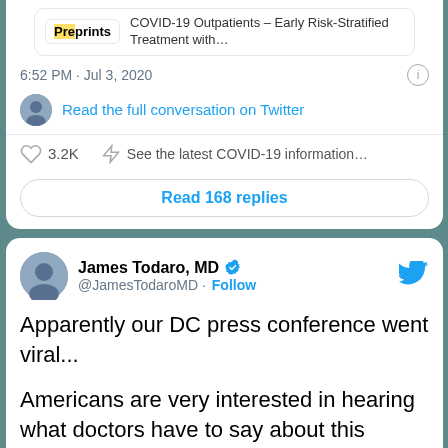[Figure (screenshot): Preprint article card showing 'Preprints COVID-19 Outpatients – Early Risk-Stratified Treatment with...']
6:52 PM · Jul 3, 2020
Read the full conversation on Twitter
3.2K   See the latest COVID-19 information...
Read 168 replies
James Todaro, MD @JamesTodaroMD · Follow
Apparently our DC press conference went viral...

Americans are very interested in hearing what doctors have to say about this pandemic.